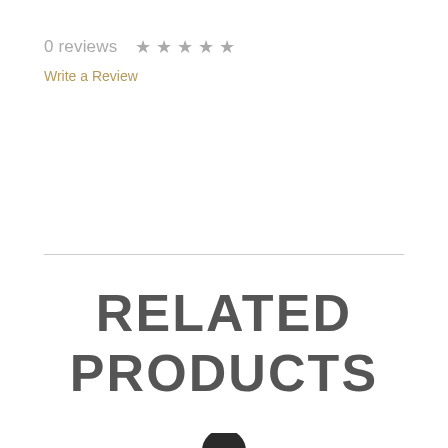0 reviews ★ ★ ★ ★ ★
Write a Review
RELATED PRODUCTS
[Figure (photo): A dark dropper bottle top with bulb and threaded cap, partially visible from the top, on white background]